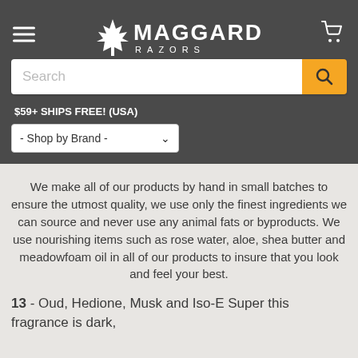[Figure (logo): Maggard Razors logo with maple leaf icon, white text on dark gray background]
$59+ SHIPS FREE! (USA)
- Shop by Brand -
We make all of our products by hand in small batches to ensure the utmost quality, we use only the finest ingredients we can source and never use any animal fats or byproducts. We use nourishing items such as rose water, aloe, shea butter and meadowfoam oil in all of our products to insure that you look and feel your best.
13 - Oud, Hedione, Musk and Iso-E Super this fragrance is dark,